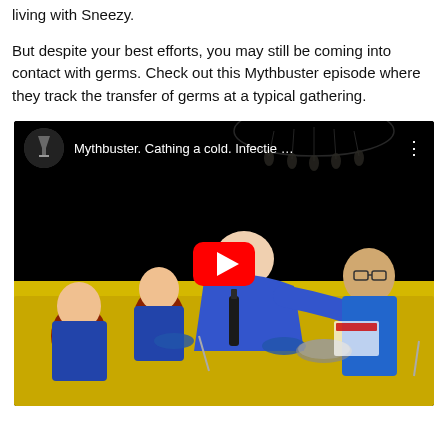living with Sneezy.
But despite your best efforts, you may still be coming into contact with germs.  Check out this Mythbuster episode where they track the transfer of germs at a typical gathering.
[Figure (screenshot): YouTube video embed showing a scene from a Mythbusters episode. Title reads: 'Mythbuster. Cathing a cold. Infectie ...' with a YouTube play button overlay. The thumbnail shows people seated at a dinner table with yellow tablecloth, one person in a blue jacket leaning over.]